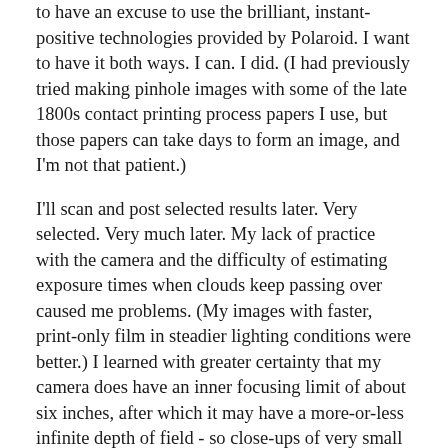to have an excuse to use the brilliant, instant-positive technologies provided by Polaroid. I want to have it both ways. I can. I did. (I had previously tried making pinhole images with some of the late 1800s contact printing process papers I use, but those papers can take days to form an image, and I'm not that patient.)
I'll scan and post selected results later. Very selected. Very much later. My lack of practice with the camera and the difficulty of estimating exposure times when clouds keep passing over caused me problems. (My images with faster, print-only film in steadier lighting conditions were better.) I learned with greater certainty that my camera does have an inner focusing limit of about six inches, after which it may have a more-or-less infinite depth of field - so close-ups of very small things (the point of this weekend's experiments) don't work well with this particular box camera. (Some of the early tests I posted long ago lacked sharpness: this is why.) I am thrilled to learn that, though that lesson wasn't necessarily the best use of some of the last Type 665 film on the planet.
I need to rethink my subject matter plans: since close-ups aren't appropriate, and the plant subjects I spend